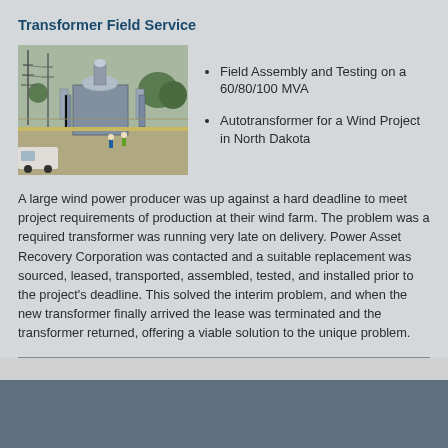Transformer Field Service
[Figure (photo): Outdoor transformer installation site with large autotransformer, workers in safety vests, and power infrastructure]
Field Assembly and Testing on a 60/80/100 MVA
Autotransformer for a Wind Project in North Dakota
A large wind power producer was up against a hard deadline to meet project requirements of production at their wind farm. The problem was a required transformer was running very late on delivery. Power Asset Recovery Corporation was contacted and a suitable replacement was sourced, leased, transported, assembled, tested, and installed prior to the project's deadline. This solved the interim problem, and when the new transformer finally arrived the lease was terminated and the transformer returned, offering a viable solution to the unique problem.